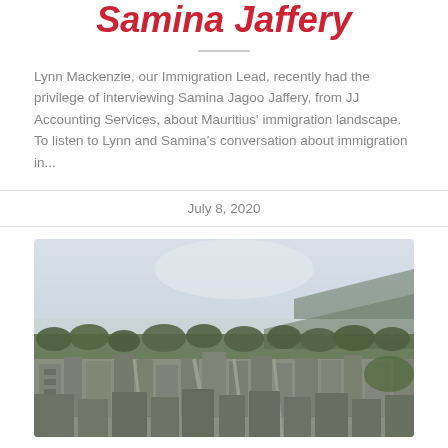Samina Jaffery
Lynn Mackenzie, our Immigration Lead, recently had the privilege of interviewing Samina Jagoo Jaffery, from JJ Accounting Services, about Mauritius' immigration landscape. To listen to Lynn and Samina's conversation about immigration in...
July 8, 2020
[Figure (photo): Aerial view of a city with green trees, dense urban buildings, and mountains in the background under a hazy sky.]